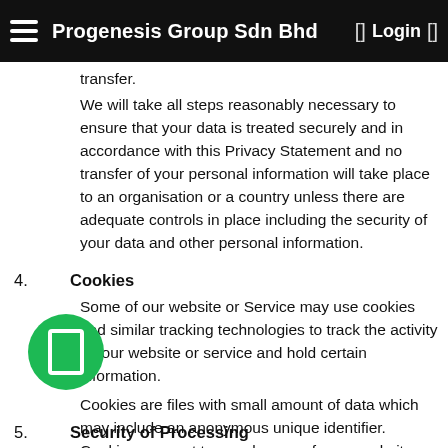Progenesis Group Sdn Bhd    [] Login  []
transfer.
We will take all steps reasonably necessary to ensure that your data is treated securely and in accordance with this Privacy Statement and no transfer of your personal information will take place to an organisation or a country unless there are adequate controls in place including the security of your data and other personal information.
4. Cookies
Some of our website or Service may use cookies and similar tracking technologies to track the activity on our website or service and hold certain information.
Cookies are files with small amount of data which may include an anonymous unique identifier. Cookies are sent to your browser from a website and stored on your device.
In the event you do not wish to receive such cookies, you may configure your browser to not refuse all cookies or to indicate when a cookie is being sent. However, you may not be able to use all the features and functionality of our website or service.
5. Security of Processing